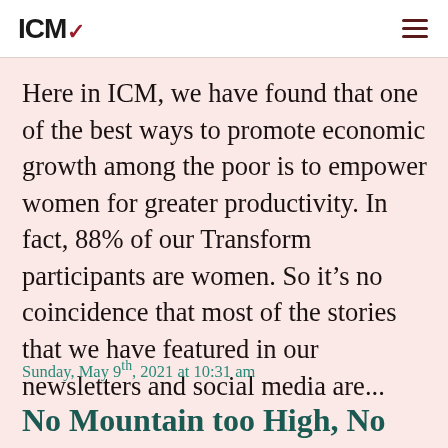ICM
Here in ICM, we have found that one of the best ways to promote economic growth among the poor is to empower women for greater productivity. In fact, 88% of our Transform participants are women. So it's no coincidence that most of the stories that we have featured in our newsletters and social media are...
Sunday, May 9th, 2021 at 10:31 am
No Mountain too High, No